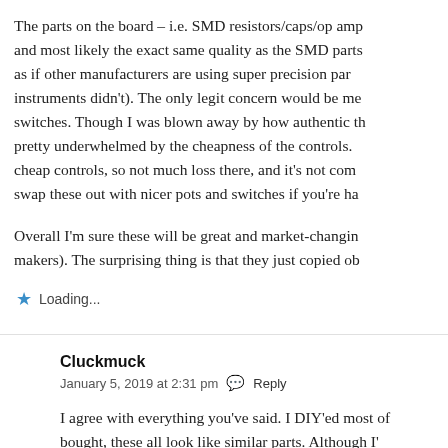The parts on the board – i.e. SMD resistors/caps/op amp and most likely the exact same quality as the SMD parts as if other manufacturers are using super precision par instruments didn't). The only legit concern would be me switches. Though I was blown away by how authentic th pretty underwhelmed by the cheapness of the controls. cheap controls, so not much loss there, and it's not com swap these out with nicer pots and switches if you're ha
Overall I'm sure these will be great and market-changin makers). The surprising thing is that they just copied ob
Loading...
Cluckmuck
January 5, 2019 at 2:31 pm   Reply
I agree with everything you've said. I DIY'ed most of bought, these all look like similar parts. Although I'